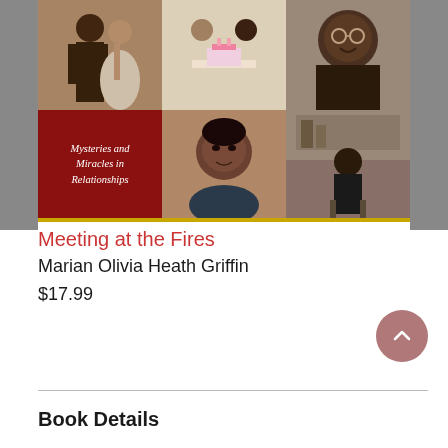[Figure (photo): Book cover of 'Meeting at the Fires' by Marian Olivia Heath Griffin. Yellow/gold cover with a collage of photos showing couples and individuals, and subtitle 'Mysteries and Miracles in Relationships' in red panel. Author name in black on gold bar at bottom.]
Meeting at the Fires
Marian Olivia Heath Griffin
$17.99
Book Details